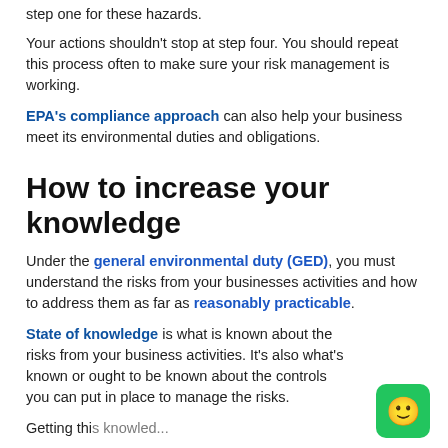step one for these hazards.
Your actions shouldn't stop at step four. You should repeat this process often to make sure your risk management is working.
EPA's compliance approach can also help your business meet its environmental duties and obligations.
How to increase your knowledge
Under the general environmental duty (GED), you must understand the risks from your businesses activities and how to address them as far as reasonably practicable.
State of knowledge is what is known about the risks from your business activities. It's also what's known or ought to be known about the controls you can put in place to manage the risks.
Getting this knowledge...